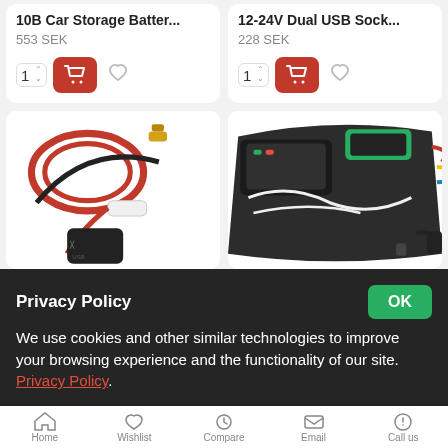10B Car Storage Batter...
553 SEK
12-24V Dual USB Sock...
228 SEK
[Figure (photo): Red and black jumper cables with gold-colored clamps and a white inline device, plus a black USB device]
[Figure (photo): Black kit case open showing emergency jump starter with cables, clamps, USB cables, charger and accessories]
Privacy Policy
We use cookies and other similar technologies to improve your browsing experience and the functionality of our site. Privacy Policy.
Home  Wishlist  Compare  Email  Call us